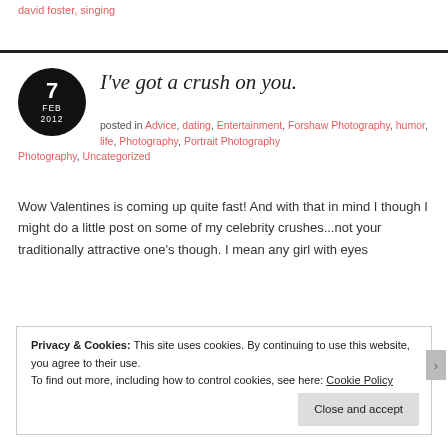david foster, singing
I've got a crush on you.
posted in Advice, dating, Entertainment, Forshaw Photography, humor, life, Photography, Portrait Photography, Uncategorized
Wow Valentines is coming up quite fast! And with that in mind I though I might do a little post on some of my celebrity crushes...not your traditionally attractive one's though. I mean any girl with eyes
Privacy & Cookies: This site uses cookies. By continuing to use this website, you agree to their use.
To find out more, including how to control cookies, see here: Cookie Policy